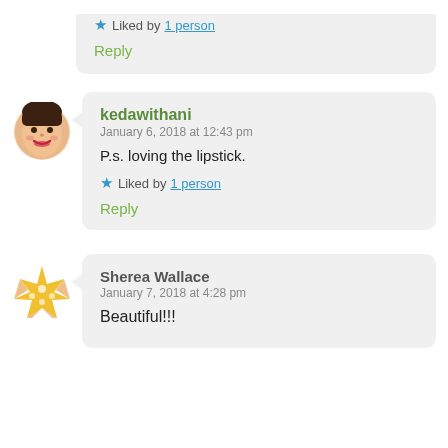Liked by 1 person
Reply
kedawithani
January 6, 2018 at 12:43 pm
P.s. loving the lipstick.
Liked by 1 person
Reply
Sherea Wallace
January 7, 2018 at 4:28 pm
Beautiful!!!